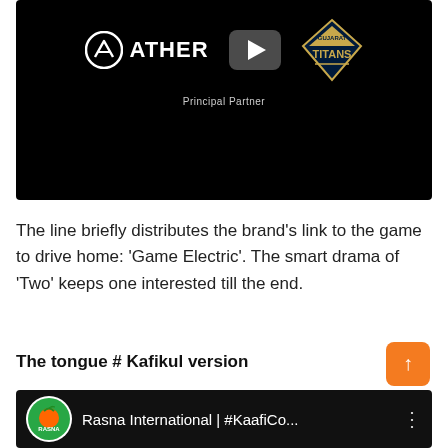[Figure (screenshot): Black video thumbnail showing Ather logo on the left, a play button in the center, and Gujarat Titans diamond logo on the right, with 'Principal Partner' text below]
The line briefly distributes the brand's link to the game to drive home: 'Game Electric'. The smart drama of 'Two' keeps one interested till the end.
The tongue # Kafikul version
[Figure (screenshot): Black video thumbnail for Rasna International #KaafiCo... with Rasna circular logo on left and three-dot menu on right]